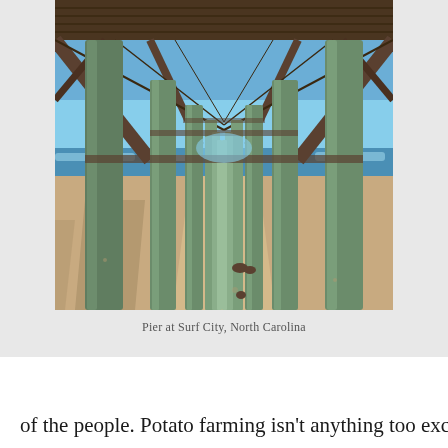[Figure (photo): View from underneath a wooden beach pier at Surf City, North Carolina. The perspective shows the wooden support beams and pilings receding into the distance toward the ocean. Sandy beach is visible on both sides, with ocean waves and blue sky in the background.]
Pier at Surf City, North Carolina
of the people. Potato farming isn't anything too exciting, but it i